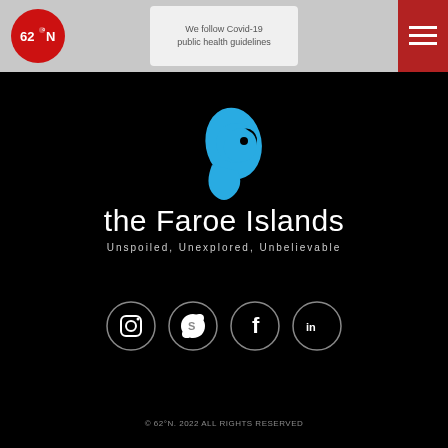[Figure (logo): 62°N red circular logo with white text in top-left header]
We follow Covid-19 public health guidelines
[Figure (logo): Hamburger menu button on red background top-right]
[Figure (logo): The Faroe Islands tourism logo with cyan spiral shell graphic, text 'the Faroe Islands' and tagline 'Unspoiled, Unexplored, Unbelievable' on black background]
[Figure (infographic): Four social media icons in circles: Instagram, Skype, Facebook, LinkedIn]
© 62°N. 2022 ALL RIGHTS RESERVED